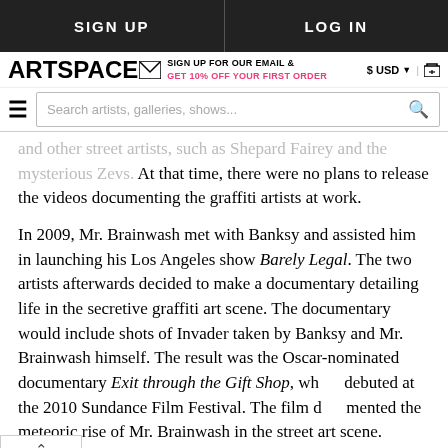SIGN UP   LOG IN
ARTSPACE — SIGN UP FOR OUR EMAIL & GET 10% OFF YOUR FIRST ORDER — $ USD | cart
Search artists, galleries, shows...
and other street artists, such as Shepard Fairey and the mysterious Zevs. At that time, there were no plans to release the videos documenting the graffiti artists at work.
In 2009, Mr. Brainwash met with Banksy and assisted him in launching his Los Angeles show Barely Legal. The two artists afterwards decided to make a documentary detailing life in the secretive graffiti art scene. The documentary would include shots of Invader taken by Banksy and Mr. Brainwash himself. The result was the Oscar-nominated documentary Exit through the Gift Shop, which debuted at the 2010 Sundance Film Festival. The film documented the meteoric rise of Mr. Brainwash in the street art scene. Following the success of the film, Mr. Brainwash gained massive following with his exhibitions such as the one held at the Opera Gallery, London.